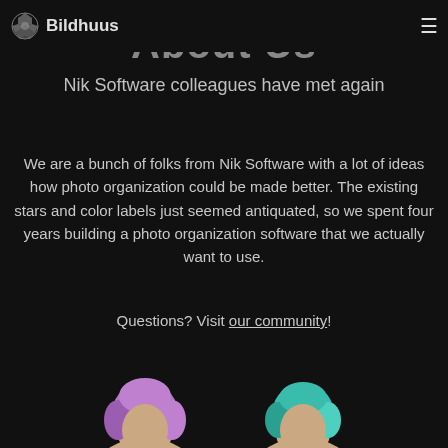Bildhuus [logo] [hamburger menu]
About Us
Nik Software colleagues have met again
We are a bunch of folks from Nik Software with a lot of ideas how photo organization could be made better. The existing stars and color labels just seemed antiquated, so we spent four years building a photo organization software that we actually want to use.
Questions? Visit our community!
[Figure (illustration): Two illustrated character busts at the bottom of the page — left figure with purple/pink hair and beige skin tones, right figure with teal/green hair and beige skin tones, on a dark background.]